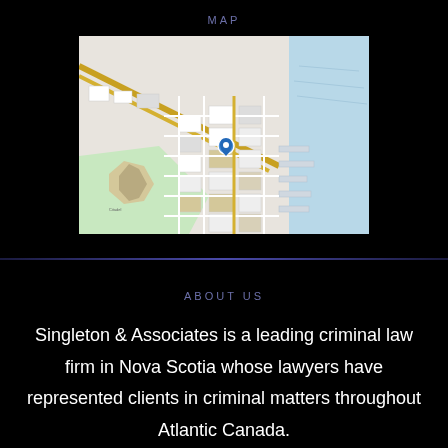MAP
[Figure (map): Street map of downtown Halifax, Nova Scotia, showing city blocks, streets, waterfront, and a blue location pin marker in the center area. The map shows a citadel/fort area in the lower left, streets running northeast, and water (Halifax Harbour) on the right side.]
ABOUT US
Singleton & Associates is a leading criminal law firm in Nova Scotia whose lawyers have represented clients in criminal matters throughout Atlantic Canada.